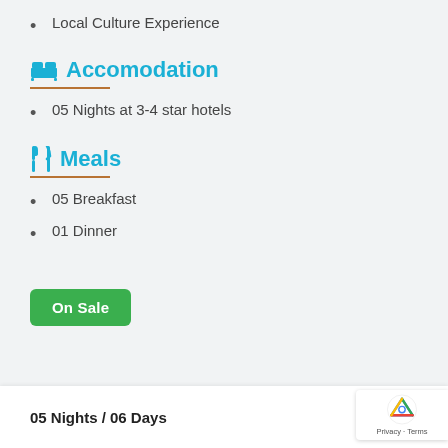Local Culture Experience
Accomodation
05 Nights at 3-4 star hotels
Meals
05 Breakfast
01 Dinner
On Sale
05 Nights / 06 Days
US$1... (original price, struck through)
From US$1...